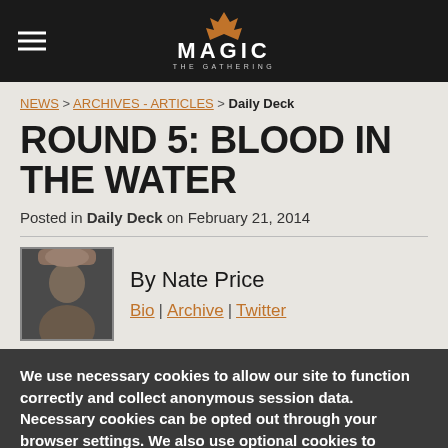MAGIC THE GATHERING
NEWS > ARCHIVES - ARTICLES > Daily Deck
ROUND 5: BLOOD IN THE WATER
Posted in Daily Deck on February 21, 2014
[Figure (photo): Author photo of Nate Price]
By Nate Price
Bio | Archive | Twitter
We use necessary cookies to allow our site to function correctly and collect anonymous session data. Necessary cookies can be opted out through your browser settings. We also use optional cookies to personalize content and ads, provide social medial features and analyze web traffic. By clicking “OK, I agree,” you consent to optional cookies.